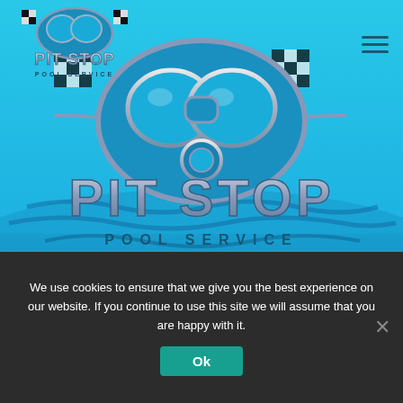[Figure (logo): Pit Stop Pool Service logo in the header: scuba diver mask with racing flags, silver and blue color scheme, text reads PIT STOP POOL SERVICE]
[Figure (logo): Large Pit Stop Pool Service hero image: large scuba diver mask with racing flags on a bright blue background with wave patterns, large silver metallic text reading PIT STOP and POOL SERVICE below]
We use cookies to ensure that we give you the best experience on our website. If you continue to use this site we will assume that you are happy with it.